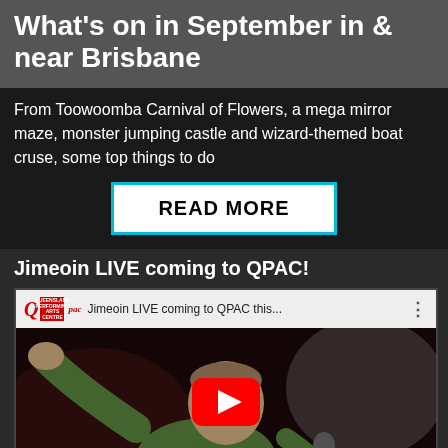What's on in September in & near Brisbane
From Toowoomba Carnival of Flowers, a mega mirror maze, monster jumping castle and wizard-themed boat cruse, some top things to do
READ MORE
Jimeoin LIVE coming to QPAC!
[Figure (screenshot): YouTube video thumbnail showing Jimeoin LIVE coming to QPAC this... with QPAC logo in top bar, man in green shirt with microphone, red YouTube play button in center]